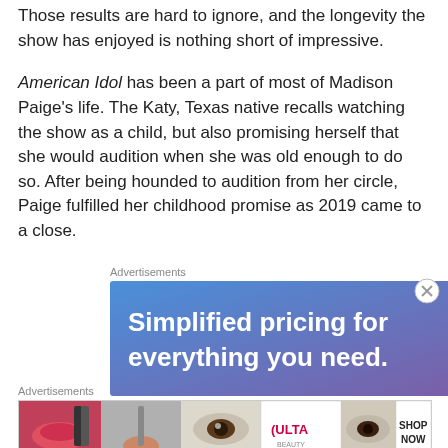Those results are hard to ignore, and the longevity the show has enjoyed is nothing short of impressive.
American Idol has been a part of most of Madison Paige's life. The Katy, Texas native recalls watching the show as a child, but also promising herself that she would audition when she was old enough to do so. After being hounded to audition from her circle, Paige fulfilled her childhood promise as 2019 came to a close.
Advertisements
[Figure (other): Advertisement banner: blue-purple gradient background with white text reading 'Simplified pricing for everything you need.']
Advertisements
[Figure (other): Advertisement strip showing beauty/makeup images with ULTA logo and 'SHOP NOW' text]